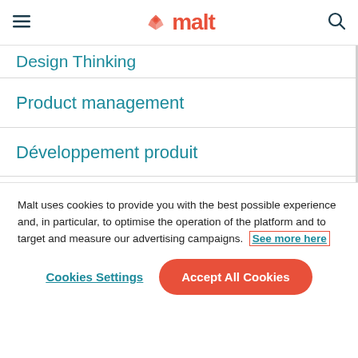malt
Design Thinking
Product management
Développement produit
Atlassian JIRA
Malt uses cookies to provide you with the best possible experience and, in particular, to optimise the operation of the platform and to target and measure our advertising campaigns. See more here
Cookies Settings | Accept All Cookies